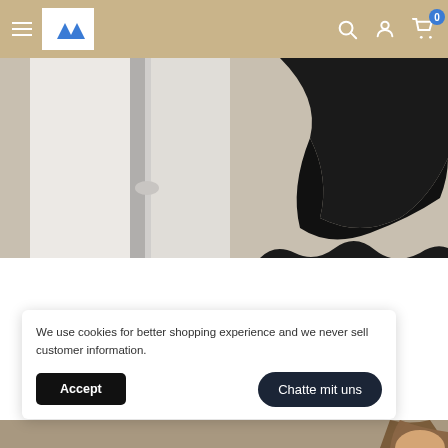[Figure (screenshot): E-commerce website navigation bar with hamburger menu, logo, search icon, account icon, and shopping cart with badge showing 0]
[Figure (photo): Product photo showing a white door/frame on the left and black fabric/clothing on the right, on a beige background]
We use cookies for better shopping experience and we never sell customer information.
[Figure (screenshot): Cookie consent banner with Accept button and Chatte mit uns (chat) button]
[Figure (photo): Partial photo of a person at the bottom of the page]